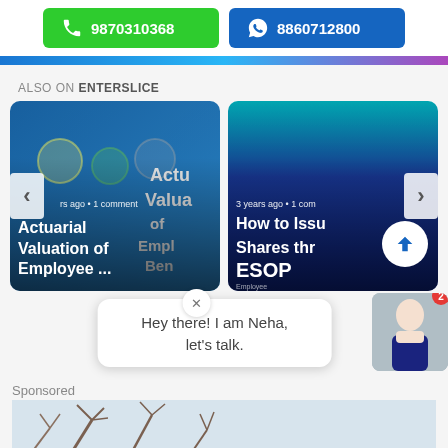[Figure (screenshot): Green call button with phone icon and number 9870310368, and blue WhatsApp button with WhatsApp icon and number 8860712800]
[Figure (infographic): Gradient bar transitioning from blue to light blue to purple]
ALSO ON ENTERSLICE
[Figure (screenshot): Carousel with two article cards: 'Actuarial Valuation of Employee ...' and 'How to Issue Shares through ESOP'. Left and right navigation arrows visible. Time stamps shown: 'rs ago • 1 comment' and '3 years ago • 1 com'.]
[Figure (screenshot): Chat popup with close X button showing 'Hey there! I am Neha, let’s talk.' and a photo of a woman (Neha) on the right with a red notification badge showing 2]
Sponsored
[Figure (photo): Bottom sponsored area showing bare tree branches against a light sky background]